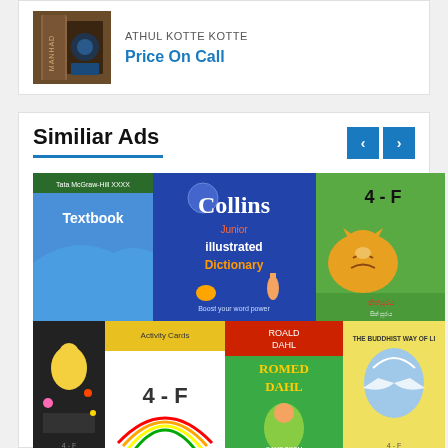[Figure (photo): Book cover image showing a dark/brown book spine with 'MANHAD' text visible]
ATHUL KOTTE KOTTE
Price On Call
Similiar Ads
[Figure (photo): A collage of children's books including Textbook, Collins Junior Illustrated Dictionary, 4-F labeled books, Roald Dahl, The Buddhist Way of Life, and other children's books]